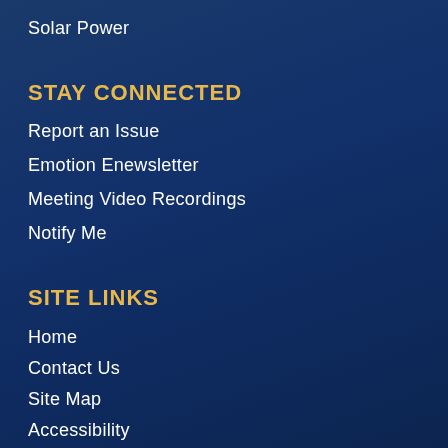Solar Power
STAY CONNECTED
Report an Issue
Emotion Enewsletter
Meeting Video Recordings
Notify Me
SITE LINKS
Home
Contact Us
Site Map
Accessibility
Copyright Notices